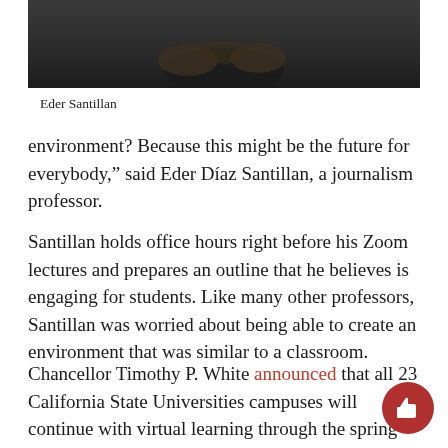[Figure (photo): Bottom portion of a person dressed in dark clothing with hands clasped, dark background]
Eder Santillan
environment? Because this might be the future for everybody,” said Eder Díaz Santillan, a journalism professor.
Santillan holds office hours right before his Zoom lectures and prepares an outline that he believes is engaging for students. Like many other professors, Santillan was worried about being able to create an environment that was similar to a classroom.
Chancellor Timothy P. White announced that all 23 California State Universities campuses will continue with virtual learning through the spring 2021 semester; professors and students will have to sta…